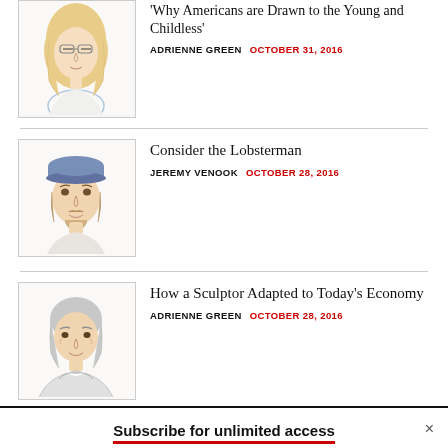[Figure (illustration): Illustrated portrait of a woman with blonde hair and glasses, partial view]
'Why Americans are Drawn to the Young and Childless'
ADRIENNE GREEN   OCTOBER 31, 2016
[Figure (illustration): Illustrated portrait of a young man with a beard and cap]
Consider the Lobsterman
JEREMY VENOOK   OCTOBER 28, 2016
[Figure (illustration): Illustrated portrait of an older man with grey hair in a suit]
How a Sculptor Adapted to Today's Economy
ADRIENNE GREEN   OCTOBER 28, 2016
Subscribe for unlimited access